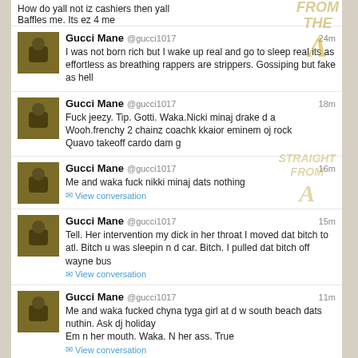Baffles me.  Its ez 4 me
Gucci Mane @gucci1017 24m — I was not born rich but I wake up real and go to sleep real its as effortless as breathing rappers are strippers. Gossiping but fake as hell
Gucci Mane @gucci1017 18m — Fuck jeezy. Tip. Gotti. Waka.Nicki minaj drake d a Wooh.frenchy 2 chainz coachk kkaior eminem oj rock Quavo takeoff cardo dam g
Gucci Mane @gucci1017 16m — Me and waka fuck nikki minaj dats nothing | View conversation
Gucci Mane @gucci1017 15m — Tell. Her intervention my dick in her throat I moved dat bitch to atl. Bitch u was sleepin n d car. Bitch. I pulled dat bitch off wayne bus | View conversation
Gucci Mane @gucci1017 11m — Me and waka fucked chyna tyga girl at d w south beach dats nuthin. Ask dj holiday Em n her mouth. Waka. N her ass. True | View conversation